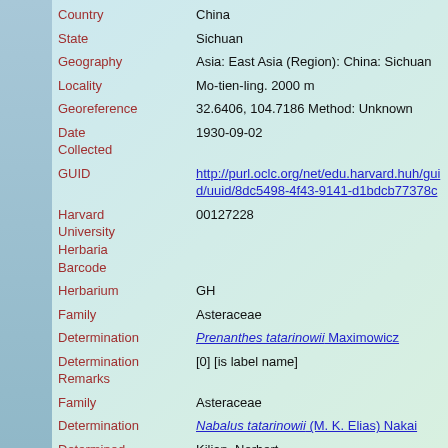Country: China
State: Sichuan
Geography: Asia: East Asia (Region): China: Sichuan
Locality: Mo-tien-ling. 2000 m
Georeference: 32.6406, 104.7186 Method: Unknown
Date Collected: 1930-09-02
GUID: http://purl.oclc.org/net/edu.harvard.huh/guid/uuid/8dc5498-4f43-9141-d1bdcb77378c
Harvard University Herbaria Barcode: 00127228
Herbarium: GH
Family: Asteraceae
Determination: Prenanthes tatarinowii Maximowicz
Determination Remarks: [0] [is label name]
Family: Asteraceae
Determination: Nabalus tatarinowii (M. K. Elias) Nakai
Determined by: Kilian, Norbert